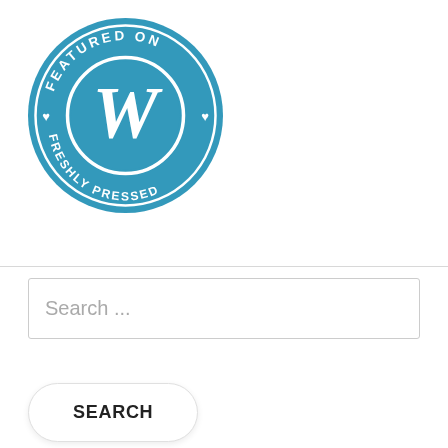[Figure (logo): WordPress 'Featured on Freshly Pressed' badge — a blue circle with white text 'FEATURED ON' along the top arc and 'FRESHLY PRESSED' along the bottom arc, white heart symbols on the sides, and a large white WordPress 'W' logo in the center circle.]
Search ...
SEARCH